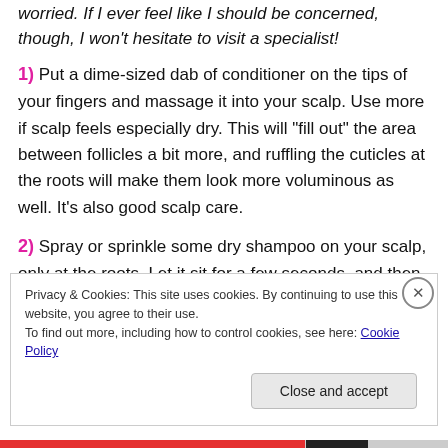worried. If I ever feel like I should be concerned, though, I won't hesitate to visit a specialist!
1) Put a dime-sized dab of conditioner on the tips of your fingers and massage it into your scalp. Use more if scalp feels especially dry. This will “fill out” the area between follicles a bit more, and ruffling the cuticles at the roots will make them look more voluminous as well. It’s also good scalp care.
2) Spray or sprinkle some dry shampoo on your scalp, only at the roots. Let it sit for a few seconds, and then
Privacy & Cookies: This site uses cookies. By continuing to use this website, you agree to their use.
To find out more, including how to control cookies, see here: Cookie Policy